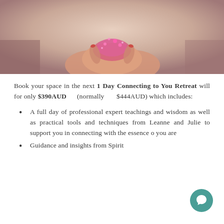[Figure (photo): Hands cupped together holding pink/purple glittery or floral material, soft warm background, cropped top of image]
Book your space in the next 1 Day Connecting to You Retreat will for only $390AUD (normally $444AUD) which includes:
A full day of professional expert teachings and wisdom as well as practical tools and techniques from Leanne and Julie to support you in connecting with the essence of who you are
Guidance and insights from Spirit